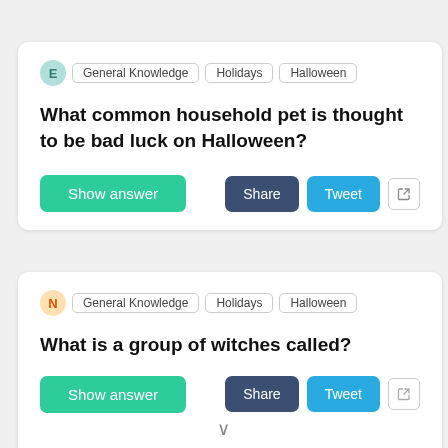E  General Knowledge  Holidays  Halloween
What common household pet is thought to be bad luck on Halloween?
Show answer
Share
Tweet
N  General Knowledge  Holidays  Halloween
What is a group of witches called?
Show answer
Share
Tweet